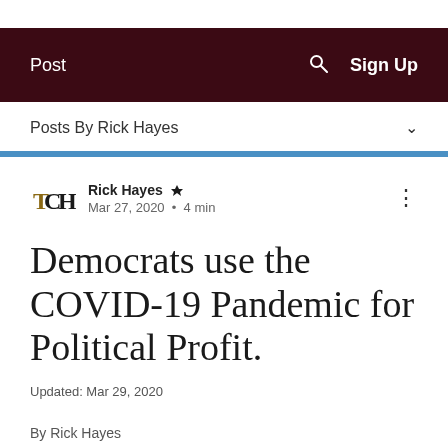Post  🔍  Sign Up
Posts By Rick Hayes
Rick Hayes 👑
Mar 27, 2020  •  4 min
Democrats use the COVID-19 Pandemic for Political Profit.
Updated: Mar 29, 2020
By Rick Hayes